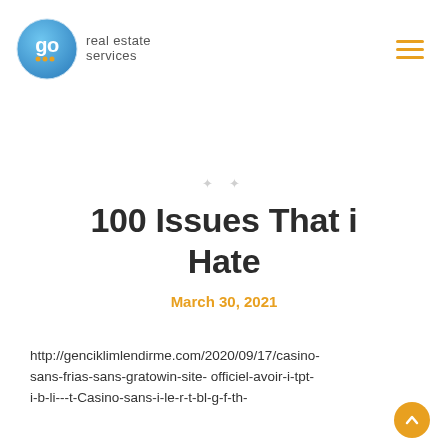[Figure (logo): Go Real Estate Services logo with blue circular badge containing 'go' text and company name to the right]
[Figure (other): Hamburger menu icon with three orange horizontal lines]
100 Issues That i Hate
March 30, 2021
http://genciklimlendirme.com/2020/09/17/casino-sans-frias-sans-gratowin-site- officiel-avoir-i-tpt-i-b-li---t-Casino-sans-i-le-r-t-bl-g-f-th-